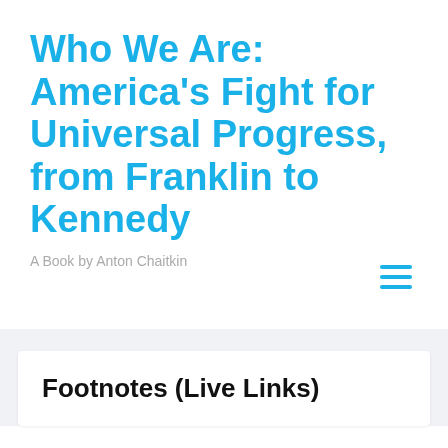Who We Are: America's Fight for Universal Progress, from Franklin to Kennedy
A Book by Anton Chaitkin
Footnotes (Live Links)